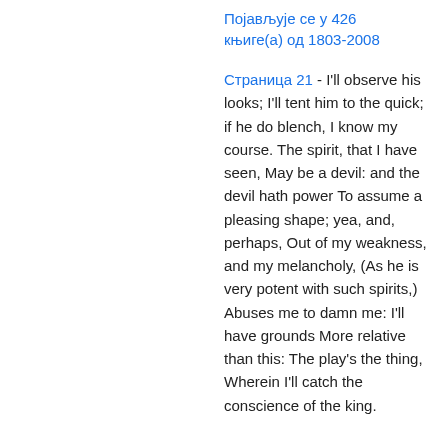Појављује се у 426 књиге(а) од 1803-2008
Страница 21 - I'll observe his looks; I'll tent him to the quick; if he do blench, I know my course. The spirit, that I have seen, May be a devil: and the devil hath power To assume a pleasing shape; yea, and, perhaps, Out of my weakness, and my melancholy, (As he is very potent with such spirits,) Abuses me to damn me: I'll have grounds More relative than this: The play's the thing, Wherein I'll catch the conscience of the king.